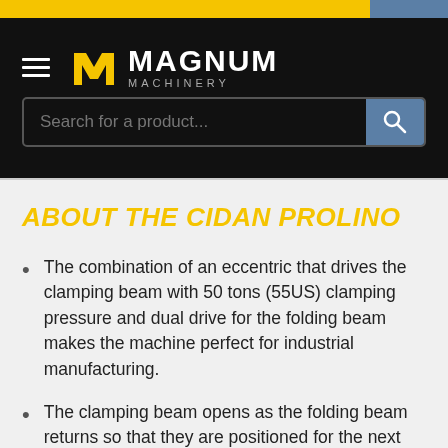[Figure (logo): Magnum Machinery logo with hamburger menu icon on black header bar]
Search for a product...
ABOUT THE CIDAN PROLINO
The combination of an eccentric that drives the clamping beam with 50 tons (55US) clamping pressure and dual drive for the folding beam makes the machine perfect for industrial manufacturing.
The clamping beam opens as the folding beam returns so that they are positioned for the next step